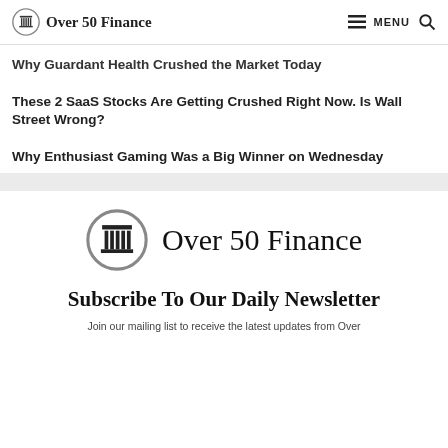Over 50 Finance  MENU
Why Guardant Health Crushed the Market Today
These 2 SaaS Stocks Are Getting Crushed Right Now. Is Wall Street Wrong?
Why Enthusiast Gaming Was a Big Winner on Wednesday
[Figure (logo): Over 50 Finance logo — circular column icon next to text 'Over 50 Finance' in large serif font]
Subscribe To Our Daily Newsletter
Join our mailing list to receive the latest updates from Over